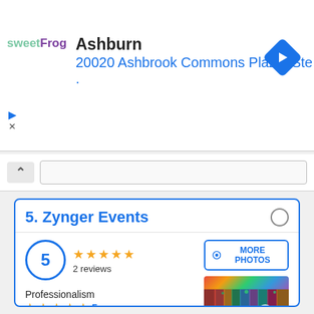[Figure (logo): sweetFrog yogurt brand logo in green and purple text]
Ashburn
20020 Ashbrook Commons Plaza, Ste .
[Figure (other): Blue diamond navigation arrow icon]
5. Zynger Events
5
2 reviews
MORE PHOTOS
[Figure (photo): Colorful banquet hall with floral arrangements and decorative draping]
Professionalism
5
Services
5
Prices / Rates
5
Facilities
5
Organization
HOW TO GET
TO CALL